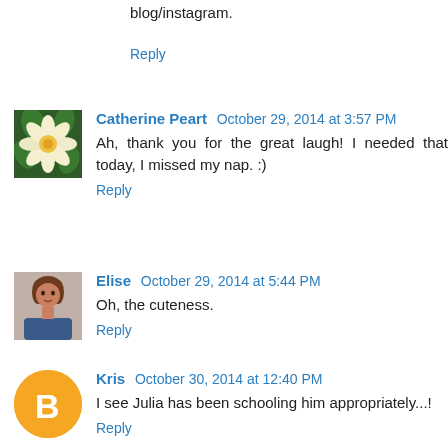blog/instagram.
Reply
Catherine Peart  October 29, 2014 at 3:57 PM
Ah, thank you for the great laugh! I needed that today, I missed my nap. :)
Reply
Elise  October 29, 2014 at 5:44 PM
Oh, the cuteness.
Reply
Kris  October 30, 2014 at 12:40 PM
I see Julia has been schooling him appropriately...!
Reply